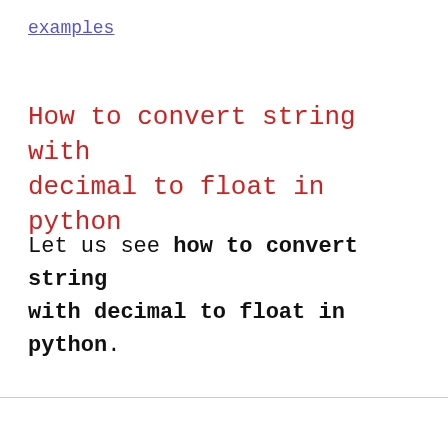examples
How to convert string with decimal to float in python
Let us see how to convert string with decimal to float in python.